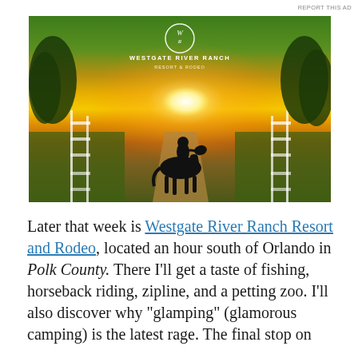REPORT THIS AD
[Figure (photo): Sunset photo at Westgate River Ranch Resort and Rodeo showing a silhouette of a person on horseback on a path, with white fences on either side, trees in background, and a golden sunset sky. Westgate River Ranch logo and text overlaid at top center.]
Later that week is Westgate River Ranch Resort and Rodeo, located an hour south of Orlando in Polk County. There I'll get a taste of fishing, horseback riding, zipline, and a petting zoo. I'll also discover why "glamping" (glamorous camping) is the latest rage. The final stop on